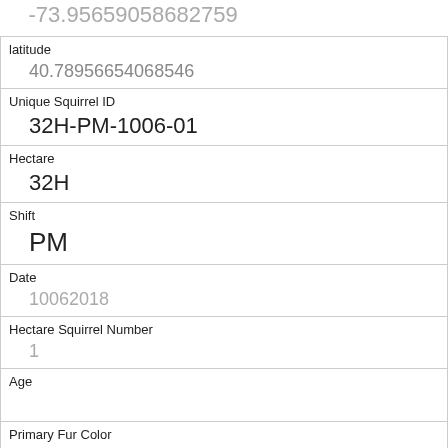| longitude | -73.95659058682759 |
| latitude | 40.78956654068546 |
| Unique Squirrel ID | 32H-PM-1006-01 |
| Hectare | 32H |
| Shift | PM |
| Date | 10062018 |
| Hectare Squirrel Number | 1 |
| Age |  |
| Primary Fur Color | Gray |
| Highlight Fur Color |  |
| Combination of Primary and Highlight Color | Gray+ |